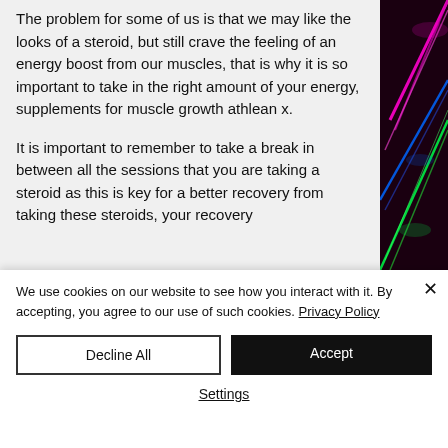The problem for some of us is that we may like the looks of a steroid, but still crave the feeling of an energy boost from our muscles, that is why it is so important to take in the right amount of your energy, supplements for muscle growth athlean x.
It is important to remember to take a break in between all the sessions that you are taking a steroid as this is key for a better recovery from taking these steroids, your recovery
[Figure (photo): Dark background with colorful laser lights in magenta, blue, and green]
We use cookies on our website to see how you interact with it. By accepting, you agree to our use of such cookies. Privacy Policy
Decline All
Accept
Settings